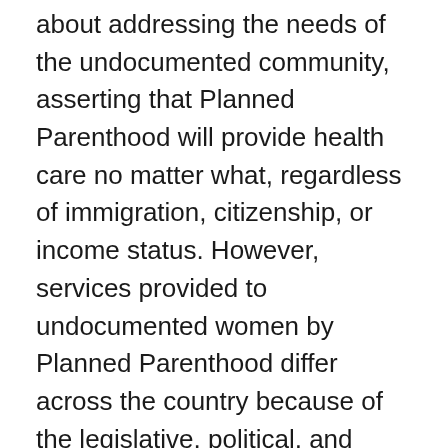about addressing the needs of the undocumented community, asserting that Planned Parenthood will provide health care no matter what, regardless of immigration, citizenship, or income status. However, services provided to undocumented women by Planned Parenthood differ across the country because of the legislative, political, and financial climate of states. As attacks on Planned Parenthood occur under Trump's anti-choice administration, what's offered from clinic to clinic could be limited or done away with altogether.
“Some states have harsher anti-immigration enforcement than others, which can stand in the way of undocumented people being able to access care at Planned Parenthood, or